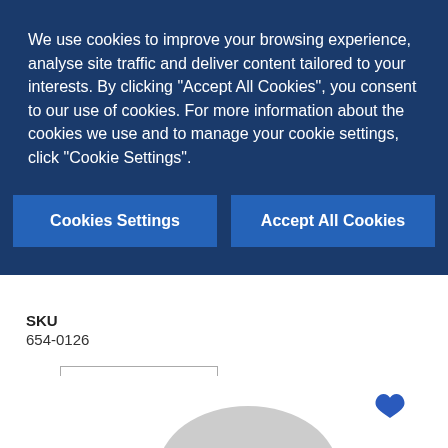We use cookies to improve your browsing experience, analyse site traffic and deliver content tailored to your interests. By clicking "Accept All Cookies", you consent to our use of cookies. For more information about the cookies we use and to manage your cookie settings, click "Cookie Settings".
Cookies Settings
Accept All Cookies
SKU
654-0126
Qty: 1
LOGIN TO PURCHASE
[Figure (illustration): Partial view of a gray product (possibly a cap or dome-shaped item) at the bottom center of the page, with a blue heart/favorite icon in the bottom right corner.]